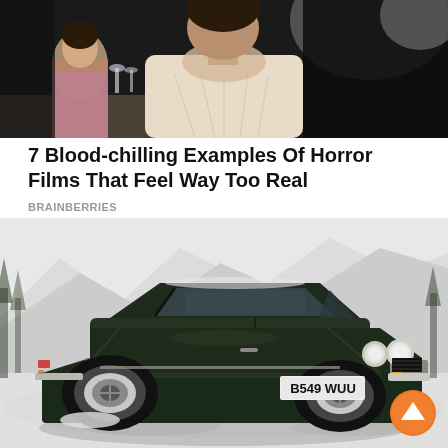[Figure (photo): A woman in a cream-colored blouse sitting at a restaurant table, another woman visible in background]
7 Blood-chilling Examples Of Horror Films That Feel Way Too Real
BRAINBERRIES
[Figure (photo): A dark green Aston Martin classic car with license plate B549 WUU parked in a snowy alpine landscape]